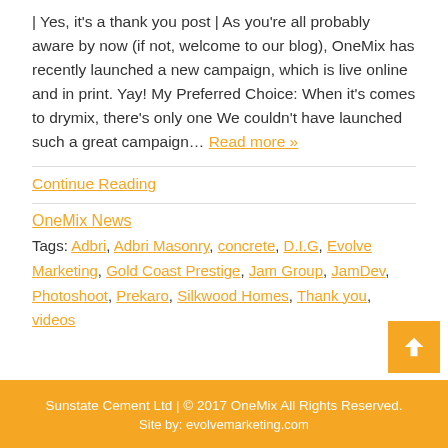| Yes, it's a thank you post | As you're all probably aware by now (if not, welcome to our blog), OneMix has recently launched a new campaign, which is live online and in print. Yay! My Preferred Choice: When it's comes to drymix, there's only one We couldn't have launched such a great campaign… Read more »
Continue Reading
OneMix News
Tags: Adbri, Adbri Masonry, concrete, D.I.G, Evolve Marketing, Gold Coast Prestige, Jam Group, JamDev, Photoshoot, Prekaro, Silkwood Homes, Thank you, videos
Sunstate Cement Ltd | © 2017 OneMix All Rights Reserved. Site by: evolvemarketing.com